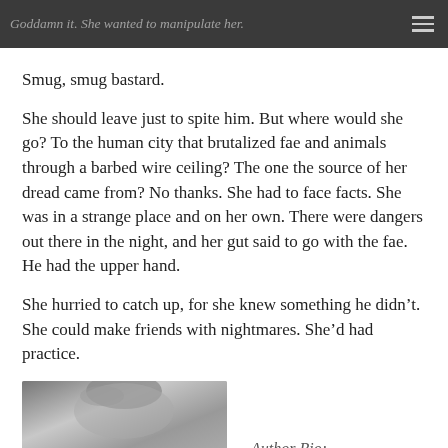Goddamn it. She wanted to manipulate her.
Smug, smug bastard.
She should leave just to spite him. But where would she go? To the human city that brutalized fae and animals through a barbed wire ceiling? The one the source of her dread came from? No thanks. She had to face facts. She was in a strange place and on her own. There were dangers out there in the night, and her gut said to go with the fae. He had the upper hand.
She hurried to catch up, for she knew something he didn’t. She could make friends with nightmares. She’d had practice.
[Figure (photo): Partial black and white photo of a person, showing hair and top of head, cropped at bottom of page]
Author Bio: